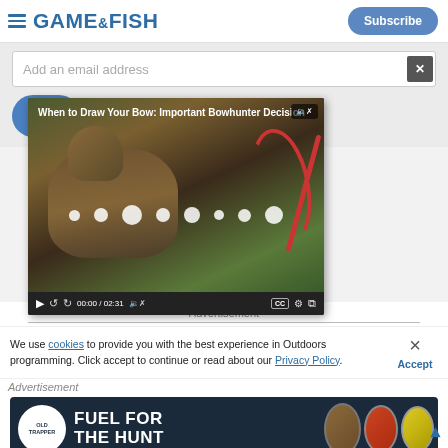GAME&FISH
Add an email address
[Figure (screenshot): Video player showing a bowhunter in camouflage drawing a bow, with title 'When to Draw Your Bow: Important Bowhunter Decision' and video controls showing 00:00 / 02:31]
Advertisement
We use cookies to provide you with the best experience in Outdoors programming. Click accept to continue or read about our Privacy Policy.
Advertisement
[Figure (photo): Old Trapper beef jerky advertisement reading 'FUEL FOR THE HUNT' with circular product images on right side]